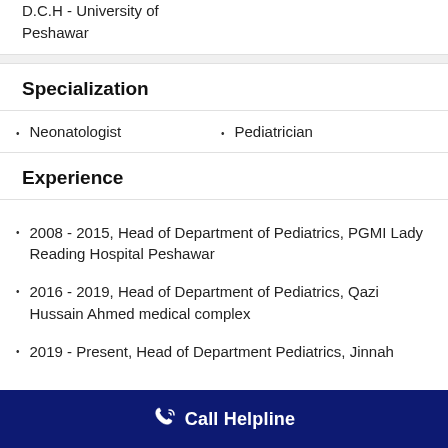D.C.H - University of Peshawar
Specialization
Neonatologist
Pediatrician
Experience
2008 - 2015, Head of Department of Pediatrics, PGMI Lady Reading Hospital Peshawar
2016 - 2019, Head of Department of Pediatrics, Qazi Hussain Ahmed medical complex
2019 - Present, Head of Department Pediatrics, Jinnah
Call Helpline